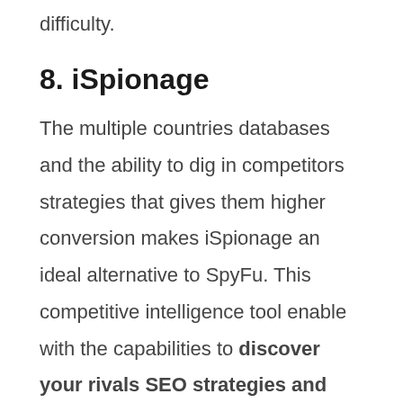difficulty.
8. iSpionage
The multiple countries databases and the ability to dig in competitors strategies that gives them higher conversion makes iSpionage an ideal alternative to SpyFu. This competitive intelligence tool enable with the capabilities to discover your rivals SEO strategies and successful campaigns. You can research SEO and PPC data from multiple search engines